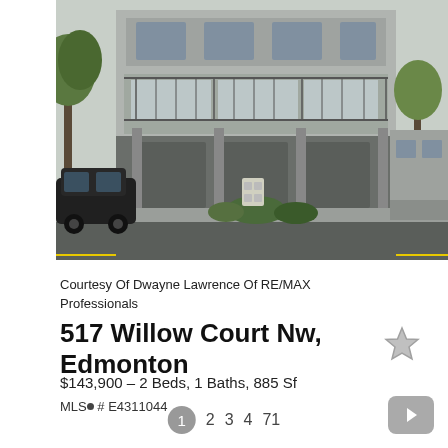[Figure (photo): Exterior photo of a multi-storey grey concrete apartment building with balconies on the upper floors, a black SUV parked to the left, trees visible, and garage/carport at ground level.]
Courtesy Of Dwayne Lawrence Of RE/MAX Professionals
517 Willow Court Nw, Edmonton
$143,900 - 2 Beds, 1 Baths, 885 Sf
MLS® # E4311044